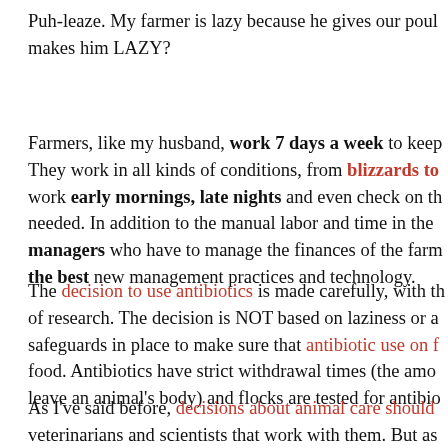Puh-leaze. My farmer is lazy because he gives our poul makes him LAZY?
Farmers, like my husband, work 7 days a week to keep They work in all kinds of conditions, from blizzards to work early mornings, late nights and even check on th needed. In addition to the manual labor and time in the managers who have to manage the finances of the farm the best new management practices and technology.
The decision to use antibiotics is made carefully, with th of research. The decision is NOT based on laziness or a safeguards in place to make sure that antibiotic use on f food. Antibiotics have strict withdrawal times (the amo leave an animal's body) and flocks are tested for antibio
As I've said before, decisions about animal care should veterinarians and scientists that work with them. But as